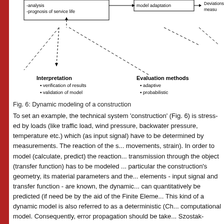[Figure (flowchart): Partial flowchart showing 'Dynamic modeling of a construction' with boxes for prognosis of service life, model adaptation, and annotation boxes for Interpretation (verification of results, validation of model) and Evaluation methods (adaptive, probabilistic). Dashed arrows connect elements.]
Fig. 6: Dynamic modeling of a construction
To set an example, the technical system 'construction' (Fig. 6) is stressed by loads (like traffic load, wind pressure, backwater pressure, temperature etc.) which (as input signal) have to be determined by measurements. The reaction of the s... movements, strain). In order to model (calculate, predict) the reaction... transmission through the object (transfer function) has to be modeled... particular the construction's geometry, its material parameters and the... elements - input signal and transfer function - are known, the dynamic... can quantitatively be predicted (if need be by the aid of the Finite Ele... This kind of a dynamic model is also referred to as a deterministic (Ch... computational model. Consequently, error propagation should be take... Szostak-Chrzanowski et al. 1994; DIN 1319-1997). If, how-ever, in ad... the deformations, is determined by (geodetic) measurements, the full ... obvious (integrated models). The comparison of the predicted to the...